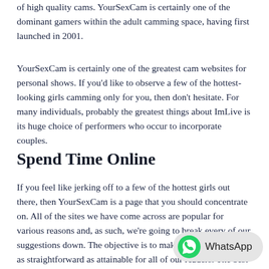of high quality cams. YourSexCam is certainly one of the dominant gamers within the adult camming space, having first launched in 2001.
YourSexCam is certainly one of the greatest cam websites for personal shows. If you'd like to observe a few of the hottest-looking girls camming only for you, then don't hesitate. For many individuals, probably the greatest things about ImLive is its huge choice of performers who occur to incorporate couples.
Spend Time Online
If you feel like jerking off to a few of the hottest girls out there, then YourSexCam is a page that you should concentrate on. All of the sites we have come across are popular for various reasons and, as such, we're going to break every of our suggestions down. The objective is to make the choice process as straightforward as attainable for all of our readers. The best part about